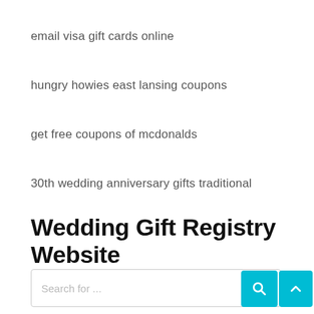email visa gift cards online
hungry howies east lansing coupons
get free coupons of mcdonalds
30th wedding anniversary gifts traditional
Wedding Gift Registry Website